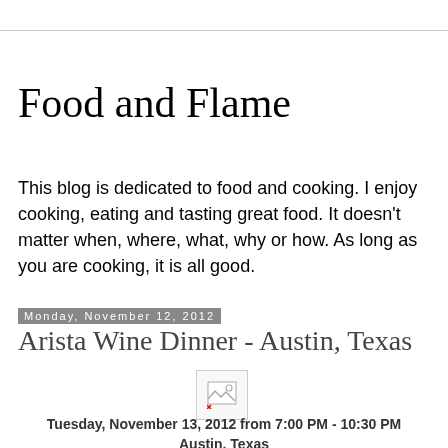Food and Flame
This blog is dedicated to food and cooking. I enjoy cooking, eating and tasting great food. It doesn't matter when, where, what, why or how. As long as you are cooking, it is all good.
Monday, November 12, 2012
Arista Wine Dinner - Austin, Texas
[Figure (photo): Broken image placeholder]
Tuesday, November 13, 2012 from 7:00 PM - 10:30 PM
Austin, Texas
Perry's Steakhouse Austin